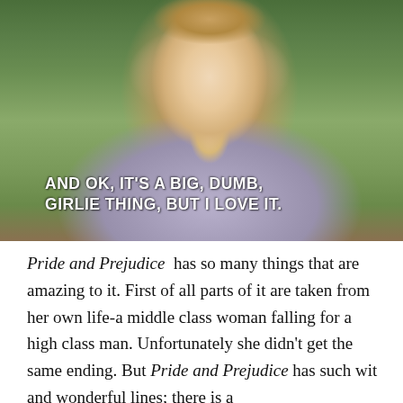[Figure (photo): A smiling young woman with blonde hair pulled back, wearing a light lavender/purple turtleneck sweater, seated outdoors with green foliage in the background. A subtitle is overlaid at the bottom of the image.]
AND OK, IT'S A BIG, DUMB, GIRLIE THING, BUT I LOVE IT.
Pride and Prejudice has so many things that are amazing to it. First of all parts of it are taken from her own life-a middle class woman falling for a high class man. Unfortunately she didn't get the same ending. But Pride and Prejudice has such wit and wonderful lines; there is a